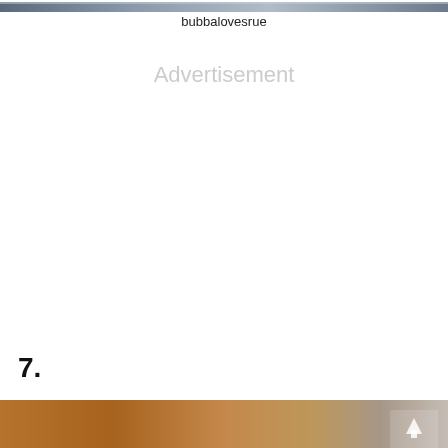[Figure (photo): Partial photo at top of page, appears to show an outdoor scene with blurred background]
bubbalovesrue
Advertisement
7.
[Figure (photo): Bottom photo showing a brown/golden dog lying down on a surface, partially cropped]